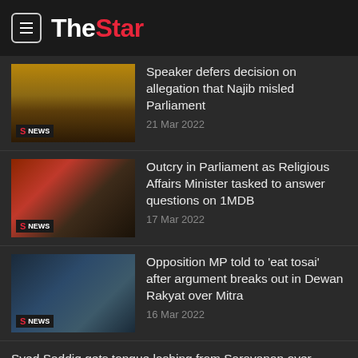The Star
Speaker defers decision on allegation that Najib misled Parliament
21 Mar 2022
Outcry in Parliament as Religious Affairs Minister tasked to answer questions on 1MDB
17 Mar 2022
Opposition MP told to 'eat tosai' after argument breaks out in Dewan Rakyat over Mitra
16 Mar 2022
Syed Saddiq gets tongue lashing from Saravanan over minimum wage issue
15 Mar 2022